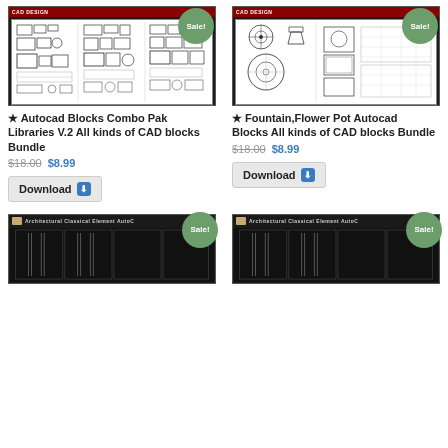[Figure (screenshot): CAD Blocks Combo Pak product thumbnail with Sale badge, dark header and white CAD drawing grid]
★↵Autocad Blocks Combo Pak Libraries V.2↵All kinds of CAD blocks Bundle
$18.00 $8.99
Download
[Figure (screenshot): Fountain Flower Pot Autocad Blocks product thumbnail with Sale badge, dark header and white CAD drawing grid]
★↵Fountain,Flower Pot Autocad Blocks↵All kinds of CAD blocks Bundle
$18.00 $8.99
Download
[Figure (screenshot): Architectural Classical Element AutoCAD product thumbnail with Sale badge, partially visible]
[Figure (screenshot): Architectural Classical Element AutoCAD product thumbnail with Sale badge, partially visible]